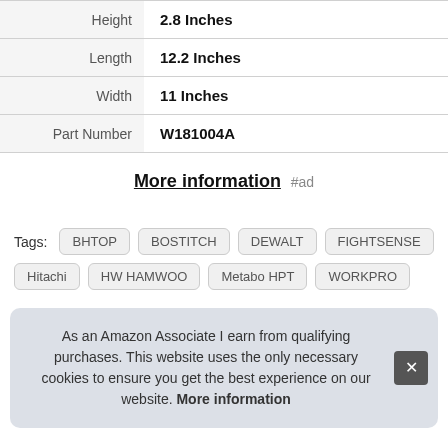| Attribute | Value |
| --- | --- |
| Height | 2.8 Inches |
| Length | 12.2 Inches |
| Width | 11 Inches |
| Part Number | W181004A |
More information #ad
Tags: BHTOP BOSTITCH DEWALT FIGHTSENSE Hitachi HW HAMWOO Metabo HPT WORKPRO
As an Amazon Associate I earn from qualifying purchases. This website uses the only necessary cookies to ensure you get the best experience on our website. More information